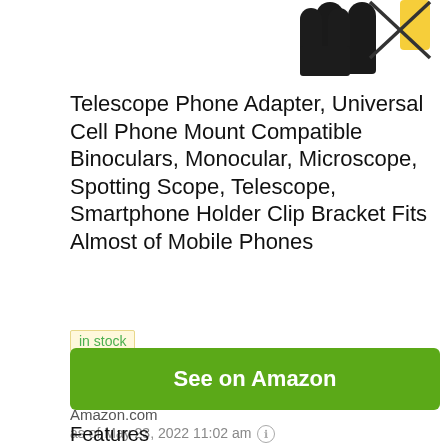[Figure (photo): Product images of a telescope phone adapter/mount shown partially at top of page — two images side by side, partially cropped]
Telescope Phone Adapter, Universal Cell Phone Mount Compatible Binoculars, Monocular, Microscope, Spotting Scope, Telescope, Smartphone Holder Clip Bracket Fits Almost of Mobile Phones
in stock
See on Amazon
Amazon.com
as of May 23, 2022 11:02 am
Features